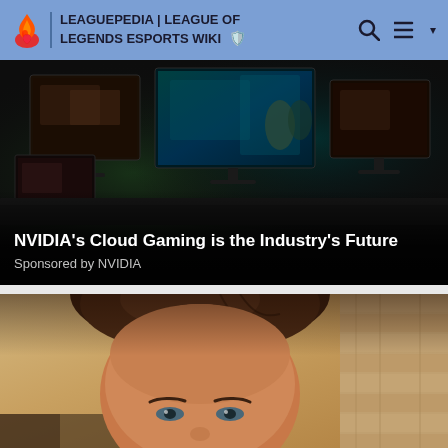LEAGUEPEDIA | LEAGUE OF LEGENDS ESPORTS WIKI
[Figure (photo): Dark promotional image showing multiple gaming monitors displaying video game scenes, with NVIDIA branding context]
NVIDIA's Cloud Gaming is the Industry's Future
Sponsored by NVIDIA
[Figure (photo): Close-up photo of a man's face and top of head, taken from below, with brick wall background in warm tones]